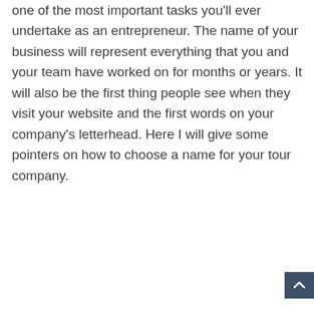one of the most important tasks you'll ever undertake as an entrepreneur. The name of your business will represent everything that you and your team have worked on for months or years. It will also be the first thing people see when they visit your website and the first words on your company's letterhead. Here I will give some pointers on how to choose a name for your tour company.